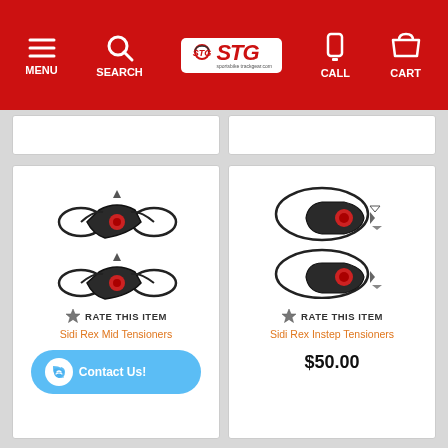[Figure (screenshot): STG (SportsBikeTrackGear) website navigation bar with red background, showing hamburger menu, search, logo, call, and cart icons]
[Figure (photo): Sidi Rex Mid Tensioners product - two black motorcycle boot mid tensioner assemblies with wire cables]
RATE THIS ITEM
Sidi Rex Mid Tensioners
[Figure (photo): Sidi Rex Instep Tensioners product - two black motorcycle boot instep tensioner assemblies with wire cables]
RATE THIS ITEM
Sidi Rex Instep Tensioners
$50.00
Contact Us!